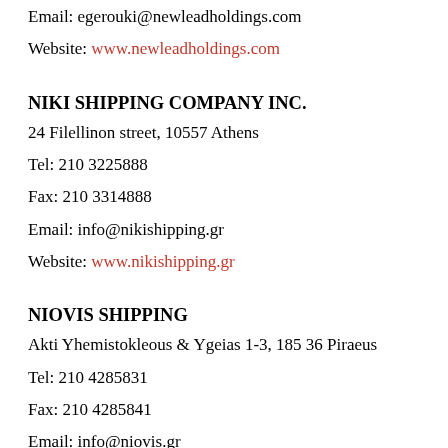Email: egerouki@newleadholdings.com
Website: www.newleadholdings.com
NIKI SHIPPING COMPANY INC.
24 Filellinon street, 10557 Athens
Tel: 210 3225888
Fax: 210 3314888
Email: info@nikishipping.gr
Website: www.nikishipping.gr
NIOVIS SHIPPING
Akti Yhemistokleous & Ygeias 1-3, 185 36 Piraeus
Tel: 210 4285831
Fax: 210 4285841
Email: info@niovis.gr
Website: www.niovis.gr